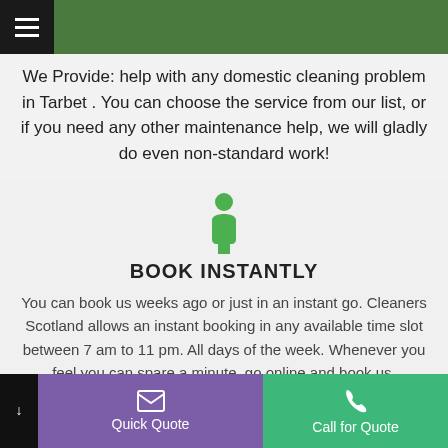[Figure (other): Green navigation header bar with black hamburger menu button on the left]
We Provide: help with any domestic cleaning problem in Tarbet . You can choose the service from our list, or if you need any other maintenance help, we will gladly do even non-standard work!
[Figure (illustration): Green person/human silhouette icon]
BOOK INSTANTLY
You can book us weeks ago or just in an instant go. Cleaners Scotland allows an instant booking in any available time slot between 7 am to 11 pm. All days of the week. Whenever you feel you can spare a minute, go online and book us.
[Figure (other): Footer bar with dark left strip with down arrow, purple Quick Quote button with email icon, and green Call for Quote button with phone icon]